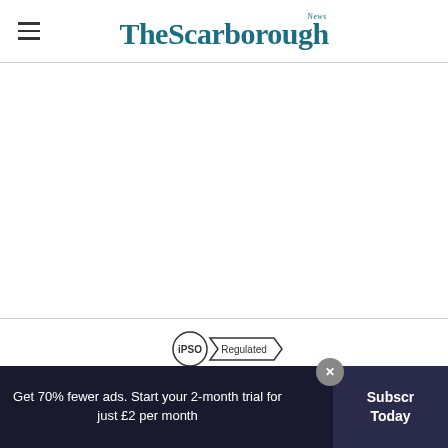The Scarborough News
[Figure (logo): The Scarborough News logo in teal/dark blue serif font with 'News' superscript]
[Figure (logo): IPSO Regulated badge — circle with IPSO text and a banner saying Regulated]
This website and its associated newspaper are members of Independent Press Standards Organisation (IPSO)
Get 70% fewer ads. Start your 2-month trial for just £2 per month
Subscribe Today